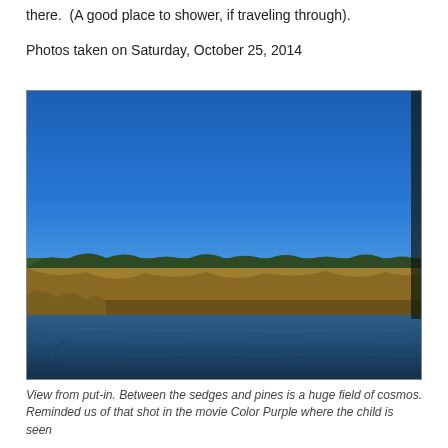there.  (A good place to shower, if traveling through).
Photos taken on Saturday, October 25, 2014
[Figure (photo): View from a kayak or canoe put-in point showing a calm waterway in the foreground with golden-brown marsh sedges along the bank, a line of pine trees on the horizon, and a clear deep blue sky above.]
View from put-in. Between the sedges and pines is a huge field of cosmos. Reminded us of that shot in the movie Color Purple where the child is seen